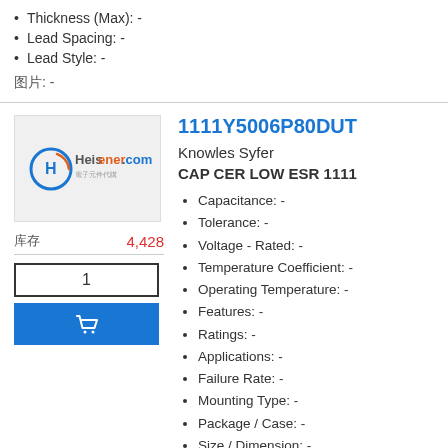Thickness (Max): -
Lead Spacing: -
Lead Style: -
图片: -
[Figure (logo): Heisener.com logo on grey background]
1111Y5006P80DUT
Knowles Syfer
CAP CER LOW ESR 1111
Capacitance: -
Tolerance: -
Voltage - Rated: -
Temperature Coefficient: -
Operating Temperature: -
Features: -
Ratings: -
Applications: -
Failure Rate: -
Mounting Type: -
Package / Case: -
Size / Dimension: -
Height - Seated (Max): -
Thickness (Max): -
Lead Spacing: